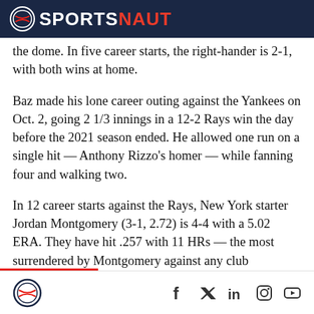SPORTSNAUT
the dome. In five career starts, the right-hander is 2-1, with both wins at home.
Baz made his lone career outing against the Yankees on Oct. 2, going 2 1/3 innings in a 12-2 Rays win the day before the 2021 season ended. He allowed one run on a single hit — Anthony Rizzo's homer — while fanning four and walking two.
In 12 career starts against the Rays, New York starter Jordan Montgomery (3-1, 2.72) is 4-4 with a 5.02 ERA. They have hit .257 with 11 HRs — the most surrendered by Montgomery against any club
Sportsnaut logo and social media icons: Facebook, Twitter, LinkedIn, Instagram, YouTube